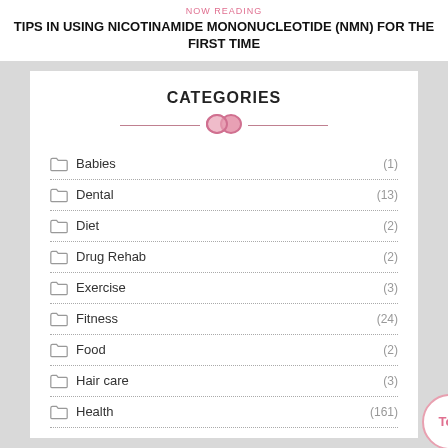NOW READING
TIPS IN USING NICOTINAMIDE MONONUCLEOTIDE (NMN) FOR THE FIRST TIME
CATEGORIES
Babies (1)
Dental (13)
Diet (2)
Drug Rehab (2)
Exercise (3)
Fitness (24)
Food (2)
Hair care (3)
Health (161)